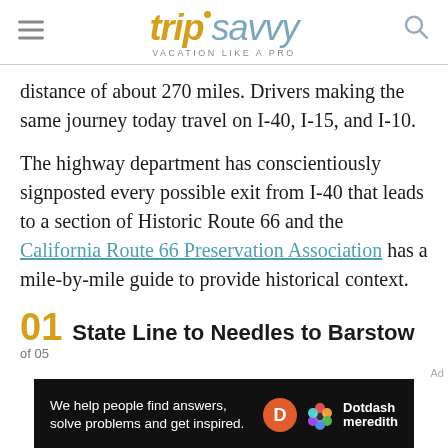tripsavvy VACATION LIKE A PRO
distance of about 270 miles. Drivers making the same journey today travel on I-40, I-15, and I-10.
The highway department has conscientiously signposted every possible exit from I-40 that leads to a section of Historic Route 66 and the California Route 66 Preservation Association has a mile-by-mile guide to provide historical context.
01 State Line to Needles to Barstow
of 05
[Figure (other): Dotdash Meredith advertisement banner: 'We help people find answers, solve problems and get inspired.']